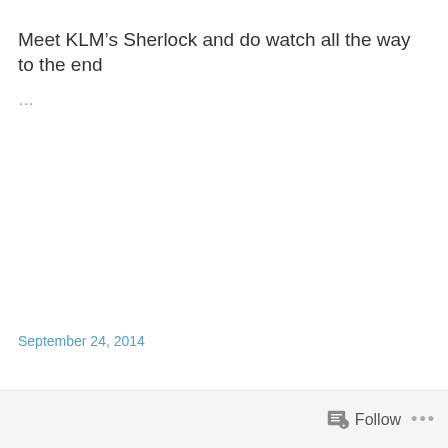Meet KLM’s Sherlock and do watch all the way to the end
...
September 24, 2014
Follow ...